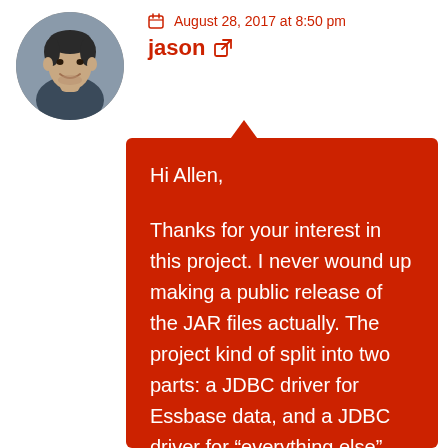[Figure (photo): Circular avatar photo of a man named Jason]
August 28, 2017 at 8:50 pm
jason
Hi Allen,

Thanks for your interest in this project. I never wound up making a public release of the JAR files actually. The project kind of split into two parts: a JDBC driver for Essbase data, and a JDBC driver for “everything else”. The data access part is still very much experimental. The “everything else” stuff works pretty well though. Depending on what you’re interested in, please feel free to email me